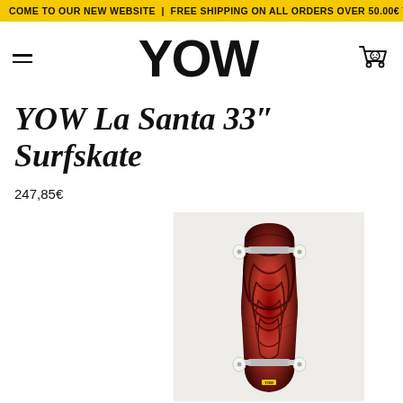COME TO OUR NEW WEBSITE | FREE SHIPPING ON ALL ORDERS OVER 50.00€ TO THE ...
[Figure (logo): YOW brand logo in bold black uppercase letters]
YOW La Santa 33" Surfskate
247,85€
[Figure (photo): YOW La Santa 33 inch Surfskate product photo — a red and black swirl-patterned skateboard deck with silver trucks and white wheels, shown top-down on a light grey background]